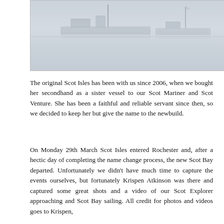[Figure (photo): Photograph of a vessel or vessels on water, lightly colored, showing boat silhouettes near what appears to be a dock or open water.]
The original Scot Isles has been with us since 2006, when we bought her secondhand as a sister vessel to our Scot Mariner and Scot Venture. She has been a faithful and reliable servant since then, so we decided to keep her but give the name to the newbuild.
On Monday 29th March Scot Isles entered Rochester and, after a hectic day of completing the name change process, the new Scot Bay departed. Unfortunately we didn't have much time to capture the events ourselves, but fortunately Krispen Atkinson was there and captured some great shots and a video of our Scot Explorer approaching and Scot Bay sailing. All credit for photos and videos goes to Krispen,